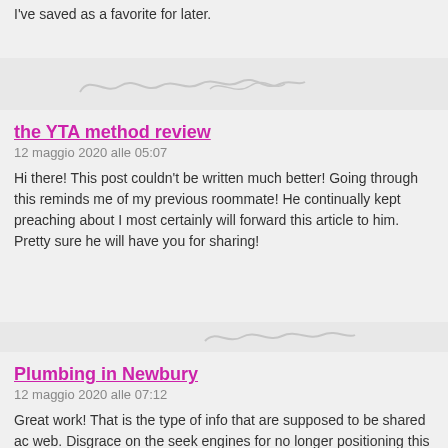I've saved as a favorite for later.
the YTA method review
12 maggio 2020 alle 05:07
Hi there! This post couldn't be written much better! Going through this reminds me of my previous roommate! He continually kept preaching about I most certainly will forward this article to him. Pretty sure he will have you for sharing!
Plumbing in Newbury
12 maggio 2020 alle 07:12
Great work! That is the type of info that are supposed to be shared across the web. Disgrace on the seek engines for no longer positioning this pub. Come on over and seek advice from my web site . Thanks =)
keto bodytone
12 maggio 2020 alle 13:39
Having read this I thought it was rather enlightening. I appreciate you